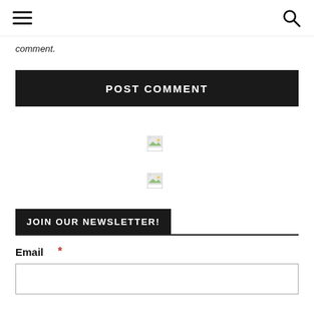Navigation header with hamburger menu and search icon
comment.
POST COMMENT
[Figure (illustration): Broken image placeholder icon 1]
[Figure (illustration): Broken image placeholder icon 2]
JOIN OUR NEWSLETTER!
Email *
Email input field (empty)